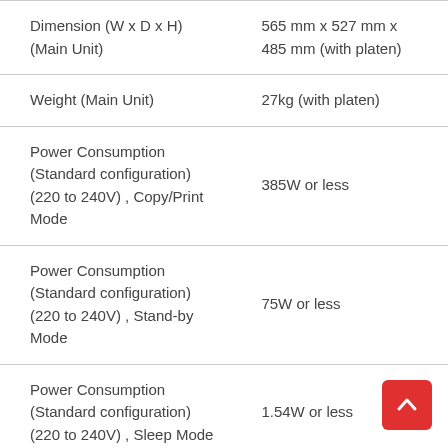| Specification | Value |
| --- | --- |
| Dimension (W x D x H) (Main Unit) | 565 mm x 527 mm x 485 mm (with platen) |
| Weight (Main Unit) | 27kg (with platen) |
| Power Consumption (Standard configuration) (220 to 240V) , Copy/Print Mode | 385W or less |
| Power Consumption (Standard configuration) (220 to 240V) , Stand-by Mode | 75W or less |
| Power Consumption (Standard configuration) (220 to 240V) , Sleep Mode | 1.54W or less |